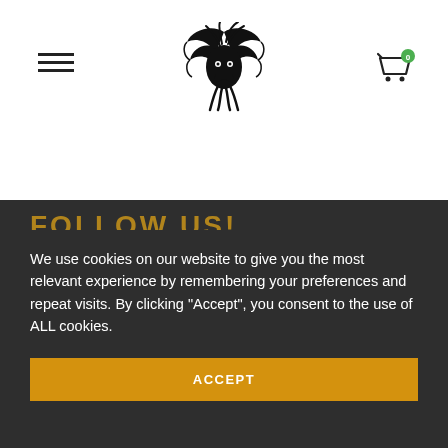[Figure (logo): Black fantasy/gothic winged creature logo (bird-like monster head with wings)]
FOLLOW US!
We use cookies on our website to give you the most relevant experience by remembering your preferences and repeat visits. By clicking "Accept", you consent to the use of ALL cookies.
ACCEPT